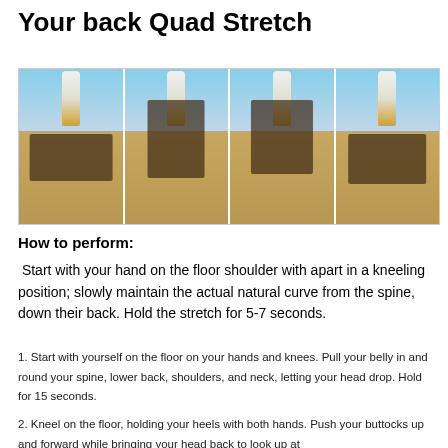Your back Quad Stretch
[Figure (photo): Four sequential photos of a person on a sandy beach performing a back quad stretch exercise, shown from lying flat to arching upward in stages.]
How to perform:
Start with your hand on the floor shoulder with apart in a kneeling position; slowly maintain the actual natural curve from the spine, down their back. Hold the stretch for 5-7 seconds.
1. Start with yourself on the floor on your hands and knees. Pull your belly in and round your spine, lower back, shoulders, and neck, letting your head drop. Hold for 15 seconds.
2. Kneel on the floor, holding your heels with both hands. Push your buttocks up and forward while bringing your head back to look up at